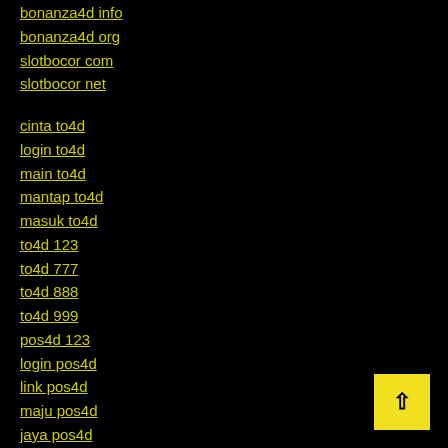bonanza4d info
bonanza4d org
slotbocor com
slotbocor net
cinta to4d
login to4d
main to4d
mantap to4d
masuk to4d
to4d 123
to4d 777
to4d 888
to4d 999
pos4d 123
login pos4d
link pos4d
maju pos4d
jaya pos4d
lancar pos4d